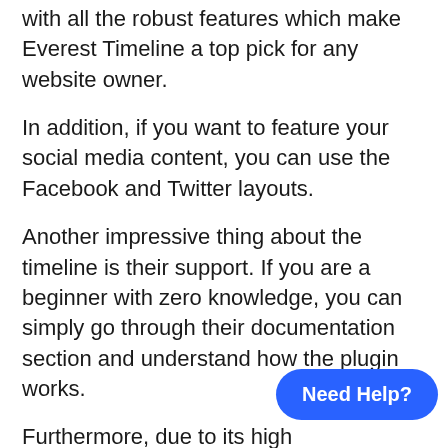with all the robust features which make Everest Timeline a top pick for any website owner.
In addition, if you want to feature your social media content, you can use the Facebook and Twitter layouts.
Another impressive thing about the timeline is their support. If you are a beginner with zero knowledge, you can simply go through their documentation section and understand how the plugin works.
Furthermore, due to its high responsiveness, you can create timelines the way you want, and it will display irrespective of the device that your visitors open your website.
[Figure (other): Blue pill-shaped chat button with white bold text reading 'Need Help?']